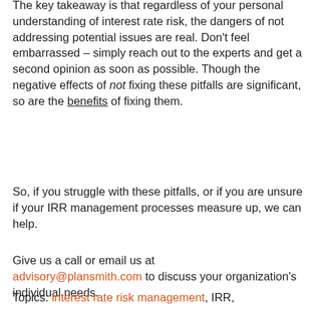The key takeaway is that regardless of your personal understanding of interest rate risk, the dangers of not addressing potential issues are real. Don't feel embarrassed – simply reach out to the experts and get a second opinion as soon as possible. Though the negative effects of not fixing these pitfalls are significant, so are the benefits of fixing them.
So, if you struggle with these pitfalls, or if you are unsure if your IRR management processes measure up, we can help.
Give us a call or email us at advisory@plansmith.com to discuss your organization's individual needs.
Topics: interest rate risk management, IRR,